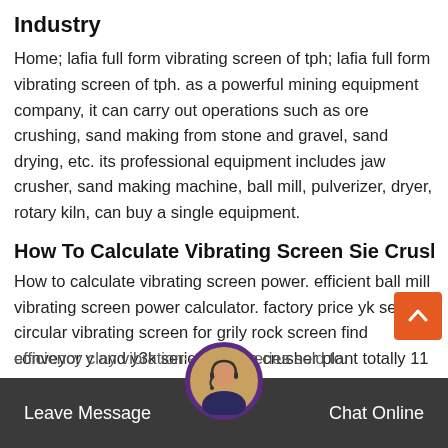Industry
Home; lafia full form vibrating screen of tph; lafia full form vibrating screen of tph. as a powerful mining equipment company, it can carry out operations such as ore crushing, sand making from stone and gravel, sand drying, etc. its professional equipment includes jaw crusher, sand making machine, ball mill, pulverizer, dryer, rotary kiln, can buy a single equipment.
How To Calculate Vibrating Screen Sie Crusher Usa
How to calculate vibrating screen power. efficient ball mill vibrating screen power calculator. factory price yk series circular vibrating screen for grily rock screen find conveyor y and y3k series mobile crusher plant totally 11 series with more yk circular vibrator screen for clay efficiency clay vibration of xs series sold to.
How To Calculate Vibrating Screen Size
Leave Message   Chat Online